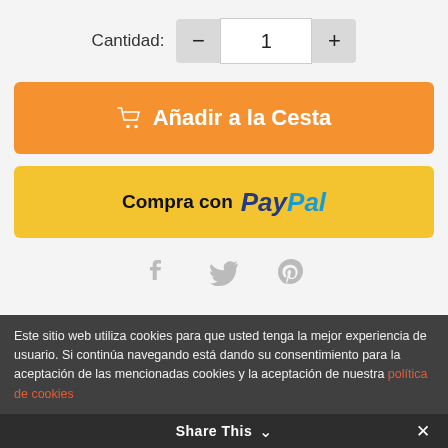Cantidad: 1
Añadir a la Cesta
[Figure (screenshot): PayPal checkout button with text 'Compra con PayPal']
[Figure (infographic): Social share icons: Facebook, Twitter, Pinterest]
Este sitio web utiliza cookies para que usted tenga la mejor experiencia de usuario. Si continúa navegando está dando su consentimiento para la aceptación de las mencionadas cookies y la aceptación de nuestra política de cookies
Share This ∨ ✕